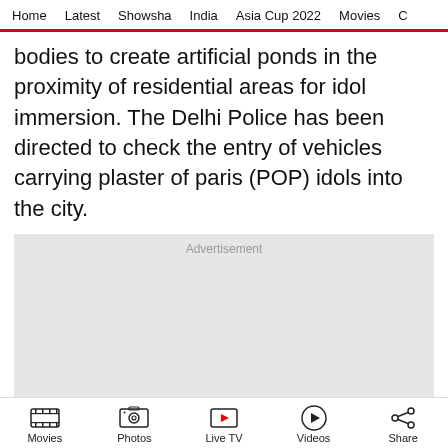Home  Latest  Showsha  India  Asia Cup 2022  Movies  C
bodies to create artificial ponds in the proximity of residential areas for idol immersion. The Delhi Police has been directed to check the entry of vehicles carrying plaster of paris (POP) idols into the city.
[Figure (other): Advertisement placeholder box with X close button]
Movies  Photos  Live TV  Videos  Share